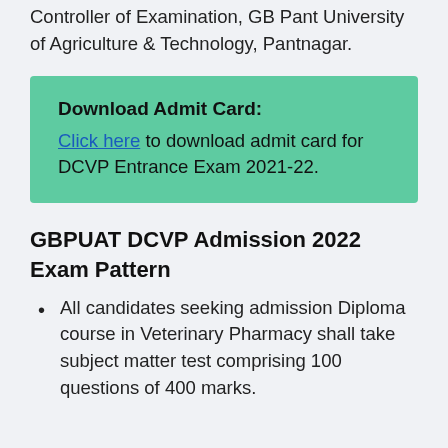Controller of Examination, GB Pant University of Agriculture & Technology, Pantnagar.
Download Admit Card: Click here to download admit card for DCVP Entrance Exam 2021-22.
GBPUAT DCVP Admission 2022 Exam Pattern
All candidates seeking admission Diploma course in Veterinary Pharmacy shall take subject matter test comprising 100 questions of 400 marks.